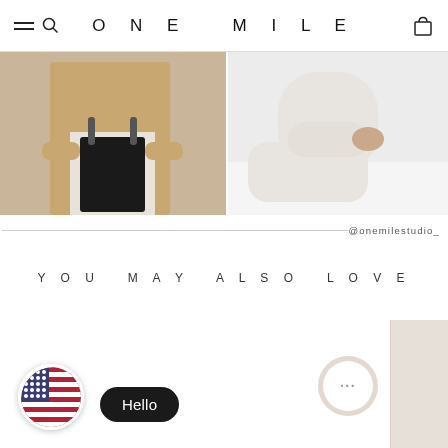ONE MILE
[Figure (photo): Left fashion photo: person holding black tote bag, wearing camel coat]
[Figure (photo): Right fashion photo: person in all-white outfit seated on white rug]
@onemilestudio_
YOU MAY ALSO LOVE
[Figure (photo): Partially visible product image, top-right corner, light beige background]
[Figure (screenshot): Chat interface: US flag emoji button, Hello chat bubble, and circular chat icon with ellipsis]